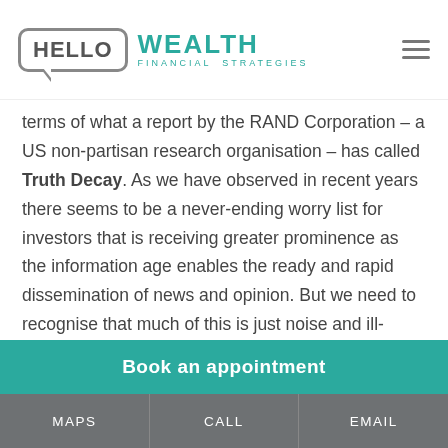HELLO WEALTH FINANCIAL STRATEGIES
terms of what a report by the RAND Corporation – a US non-partisan research organisation – has called Truth Decay. As we have observed in recent years there seems to be a never-ending worry list for investors that is receiving greater prominence as the information age enables the ready and rapid dissemination of news and opinion. But we need to recognise that much of this is just noise and ill-informed and that there is a big difference between information and wisdom when it comes to investing. The danger is that information and opinion overload is making us all worse investors as we lurch from one worry to the next resulting in ever
Book an appointment
MAPS  CALL  EMAIL